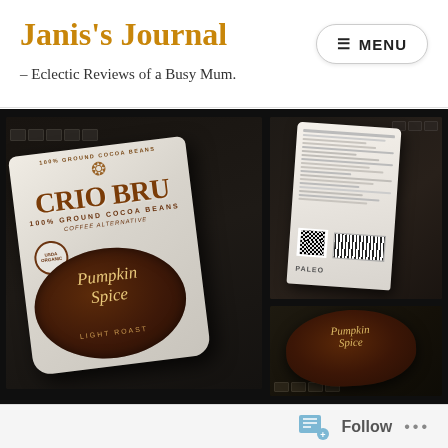Janis's Journal – Eclectic Reviews of a Busy Mum. MENU
Janis's Journal
– Eclectic Reviews of a Busy Mum.
[Figure (photo): Two photos of Crio Bru 100% Ground Cocoa Beans Pumpkin Spice Light Roast coffee alternative product package. Left photo shows front of white/silver bag with Crio Bru branding. Right top photo shows back of bag with nutrition label, barcode, QR code and PALEO certification. Right bottom photo shows close-up of the dark brown circular label area on the package.]
Follow ...